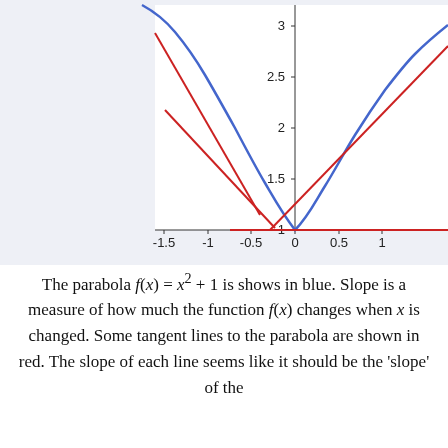[Figure (continuous-plot): A mathematical plot showing a blue parabola f(x)=x^2+1 and several red tangent lines to the parabola. The y-axis shows values from 1 to 3 (with ticks at 1, 1.5, 2, 2.5, 3). The x-axis shows values from approximately -1.5 to 1.5 (with ticks at -1.5, -1, -0.5, 0, 0.5, 1). The blue parabola has its minimum at (0,1). Red tangent lines are shown at various points on the parabola.]
The parabola f(x) = x² + 1 is shows in blue. Slope is a measure of how much the function f(x) changes when x is changed. Some tangent lines to the parabola are shown in red. The slope of each line seems like it should be the 'slope' of the